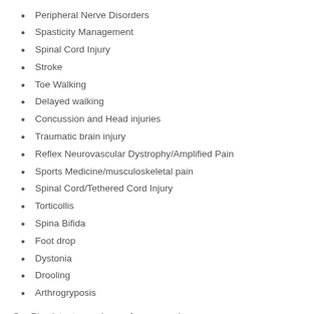Peripheral Nerve Disorders
Spasticity Management
Spinal Cord Injury
Stroke
Toe Walking
Delayed walking
Concussion and Head injuries
Traumatic brain injury
Reflex Neurovascular Dystrophy/Amplified Pain
Sports Medicine/musculoskeletal pain
Spinal Cord/Tethered Cord Injury
Torticollis
Spina Bifida
Foot drop
Dystonia
Drooling
Arthrogryposis
Our Physiatry team also perform procedures:
Baclofen pump management
Botulinum (Botox) neurolysis (Ultrasound and/or electrical stimulation guided)